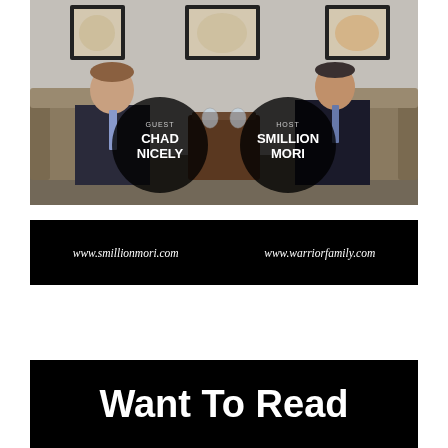[Figure (photo): Two men in suits seated in chairs facing each other in an interview setting. The man on the left is labeled GUEST CHAD NICELY and the man on the right is labeled HOST SMILLION MORI, both labels shown in circular overlays on the image.]
www.smillionmori.com    www.warriorfamily.com
Want To Read